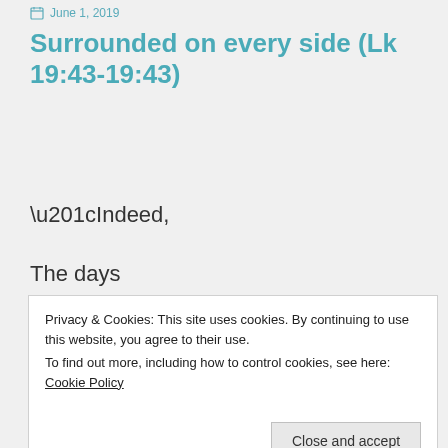June 1, 2019
Surrounded on every side (Lk 19:43-19:43)
“Indeed,

The days

Will come upon you,

When your enemies
Privacy & Cookies: This site uses cookies. By continuing to use this website, you agree to their use.
To find out more, including how to control cookies, see here: Cookie Policy
Close and accept
y...